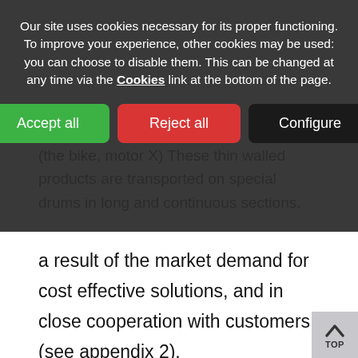Our site uses cookies necessary for its proper functioning. To improve your experience, other cookies may be used: you can choose to disable them. This can be changed at any time via the Cookies link at the bottom of the page.
[Figure (screenshot): Cookie consent dialog with three buttons: Accept all (green), Reject all (red), Configure (black)]
(the bike, motor X) These thin walled products are transported on special drums in long and continuous sections.
New applications including electrohsion have been developed as a result of the market demand for cost effective solutions, and in close cooperation with customers (see appendix 2).
Some of these new applications as well as on-site production will be demonstrated with slides and movies. Included will be